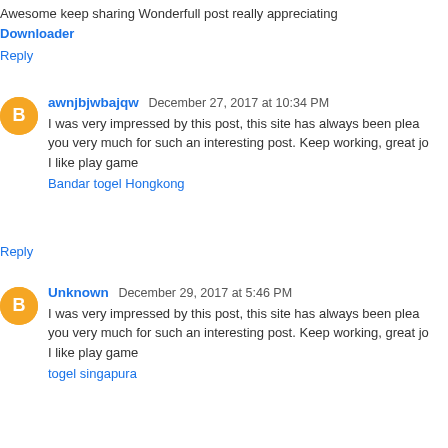Awesome keep sharing Wonderfull post really appreciating
Downloader
Reply
awnjbjwbajqw December 27, 2017 at 10:34 PM
I was very impressed by this post, this site has always been plea you very much for such an interesting post. Keep working, great jo I like play game
Bandar togel Hongkong
Reply
Unknown December 29, 2017 at 5:46 PM
I was very impressed by this post, this site has always been plea you very much for such an interesting post. Keep working, great jo I like play game
togel singapura